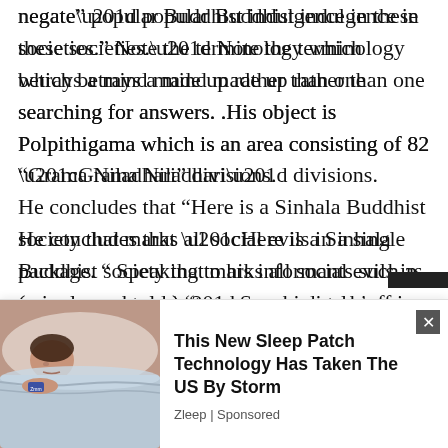negate” popular Buddhist indulgence in these societies.” Note the terminology which betrays a mind made up rather than one searching for answers. .His object is Polpithigama which is an area consisting of 82 “Grama Niladhari” divisions. He concludes that “Here is a Sinhala Buddhist society that marks all social evils in a single package. “ Speaking to his informants such as (now we are told ) “teachers, medical staff in the district hospital, Samurdhi staff in the field and some small time grocery shop owners,” he arrives at the conclusion that it “reveals how pathetic the life is, in Polpithigama.” Now this is a tremendous achievement. All these data...
[Figure (photo): Advertisement showing a person sleeping, promoting sleep patch technology]
This New Sleep Patch Technology Has Taken The US By Storm
Zleep | Sponsored